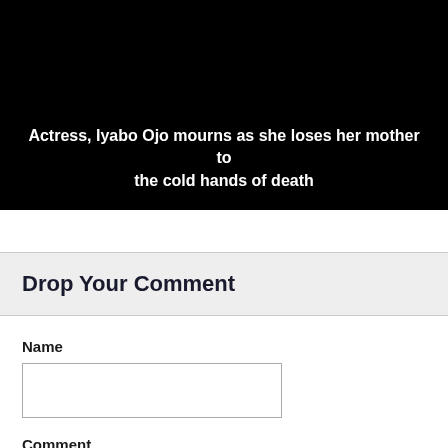[Figure (photo): Black background image/video thumbnail with white bold text overlay reading: Actress, Iyabo Ojo mourns as she loses her mother to the cold hands of death]
Drop Your Comment
Name
Comment